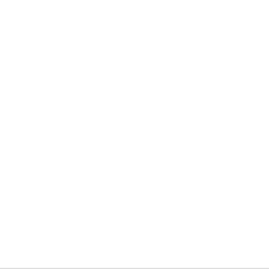/ THE DISTANCE \
OCTOBRE 23, 2015